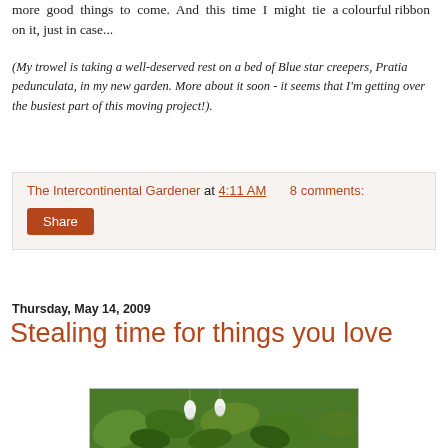more good things to come. And this time I might tie a colourful ribbon on it, just in case...
(My trowel is taking a well-deserved rest on a bed of Blue star creepers, Pratia pedunculata, in my new garden. More about it soon - it seems that I'm getting over the busiest part of this moving project!).
The Intercontinental Gardener at 4:11 AM    8 comments:
Share
Thursday, May 14, 2009
Stealing time for things you love
[Figure (photo): A garden photo showing green plants with small white drooping bell-shaped flowers, likely snowdrops or similar, against a lush green leafy background.]